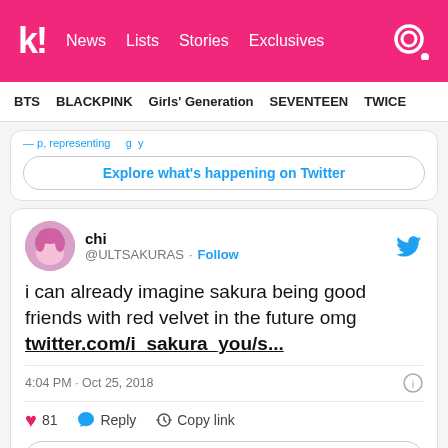k! News Lists Stories Exclusives
BTS BLACKPINK Girls' Generation SEVENTEEN TWICE
[Figure (screenshot): Partial Twitter embed card with 'Explore what's happening on Twitter' button]
[Figure (screenshot): Twitter/X embedded tweet from @ULTSAKURAS (chi): 'i can already imagine sakura being good friends with red velvet in the future omg twitter.com/i_sakura_you/s...' posted 4:04 PM · Oct 25, 2018, with 81 likes, Reply and Copy link actions, and Explore what's happening on Twitter button]